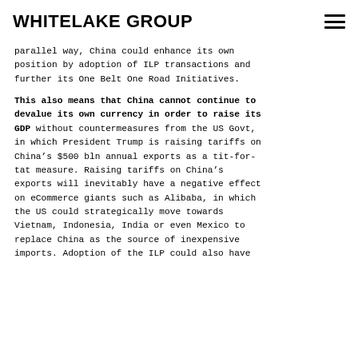WHITELAKE GROUP
parallel way, China could enhance its own position by adoption of ILP transactions and further its One Belt One Road Initiatives.
This also means that China cannot continue to devalue its own currency in order to raise its GDP without countermeasures from the US Govt, in which President Trump is raising tariffs on China’s $500 bln annual exports as a tit-for-tat measure. Raising tariffs on China’s exports will inevitably have a negative effect on eCommerce giants such as Alibaba, in which the US could strategically move towards Vietnam, Indonesia, India or even Mexico to replace China as the source of inexpensive imports. Adoption of the ILP could also have